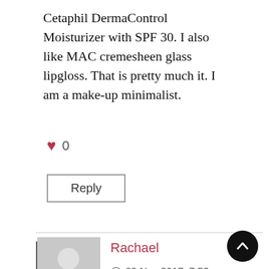Cetaphil DermaControl Moisturizer with SPF 30. I also like MAC cremesheen glass lipgloss. That is pretty much it. I am a make-up minimalist.
♥ 0
Reply
Rachael
29 Nov 2017  7:53am
Eucerine mattifying sun fluid spf 50. The best sunblock I've ever used , hands down. And Avene tolerance Creme. Super rich face moisturizer, a for sensitive skin. It keeps the dryness at bay.